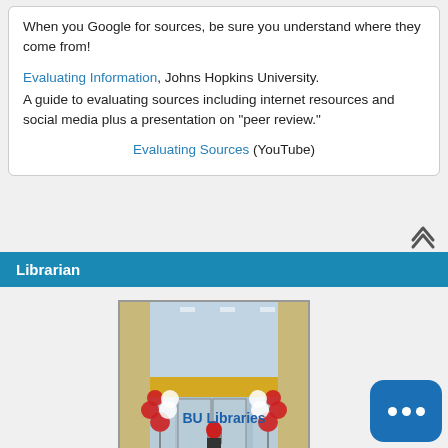When you Google for sources, be sure you understand where they come from!
Evaluating Information, Johns Hopkins University. A guide to evaluating sources including internet resources and social media plus a presentation on "peer review."
Evaluating Sources (YouTube)
Librarian
[Figure (photo): Library entrance with red and white balloons, glass doors, a person walking in, and a yellow banner above the entrance.]
BU Libraries